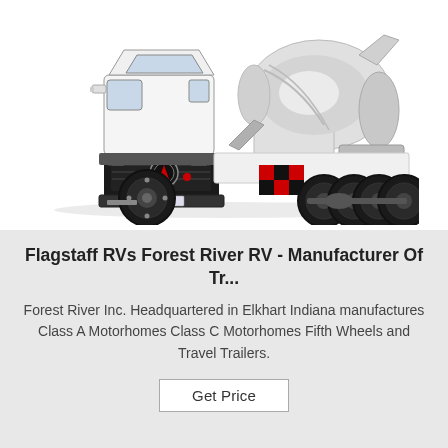[Figure (photo): A white concrete mixer truck (cement truck) with a large cylindrical drum on the back, black front fascia with a circular logo emblem, red and black checkered pattern on the lower rear section, and multiple large tires. The truck is shown in profile against a white background.]
Flagstaff RVs Forest River RV - Manufacturer Of Tr...
Forest River Inc. Headquartered in Elkhart Indiana manufactures Class A Motorhomes Class C Motorhomes Fifth Wheels and Travel Trailers.
Get Price